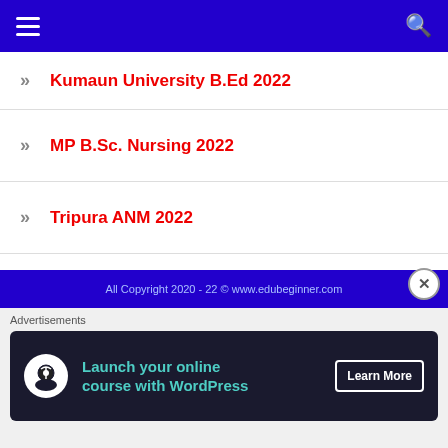Navigation header with hamburger menu and search icon
Kumaun University B.Ed 2022
MP B.Sc. Nursing 2022
Tripura ANM 2022
Tripura GNM 2022
दिल्ली विश्वविद्यालय 2022
PGIMER B.Sc. Paramedical 2022
All Copyright 2020 - 22 © www.edubeginner.com
Advertisements
[Figure (infographic): Advertisement banner: Launch your online course with WordPress - Learn More button]